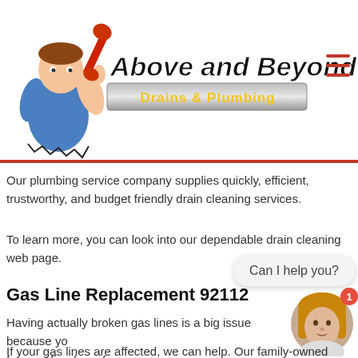[Figure (logo): Above and Beyond Drains & Plumbing logo with cartoon plumber mascot holding a wrench]
Our plumbing service company supplies quickly, efficient, trustworthy, and budget friendly drain cleaning services.
To learn more, you can look into our dependable drain cleaning web page.
Gas Line Replacement 92112
Having actually broken gas lines is a big issue because yo... for your fireplace, furnace, a...
[Figure (other): Chat widget with 'Can I help you?' bubble and female avatar with red notification badge showing 1]
If your gas lines are affected, we can help. Our family-owned plumbing